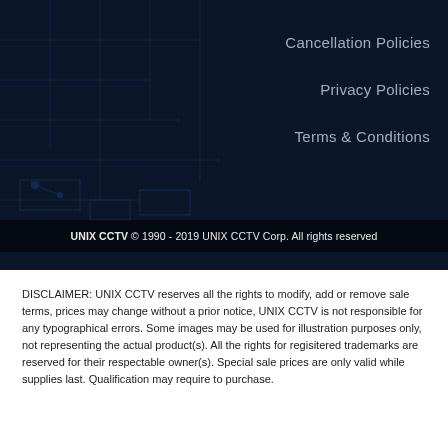[Figure (screenshot): Dark blue tech background with circuit board texture]
Cancellation Policies
Privacy Policies
Terms & Conditions
UNIX CCTV © 1990 - 2019 UNIX CCTV Corp. All rights reserved
DISCLAIMER: UNIX CCTV reserves all the rights to modify, add or remove sale terms, prices may change without a prior notice, UNIX CCTV is not responsible for any typographical errors. Some images may be used for illustration purposes only, not representing the actual product(s). All the rights for regisitered trademarks are reserved for their respectable owner(s). Special sale prices are only valid while supplies last. Qualification may require to purchase.